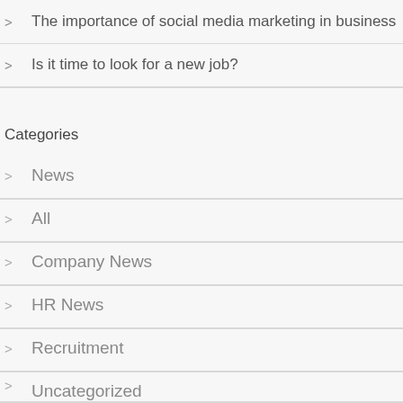The importance of social media marketing in business
Is it time to look for a new job?
Categories
News
All
Company News
HR News
Recruitment
Uncategorized
Giveaways